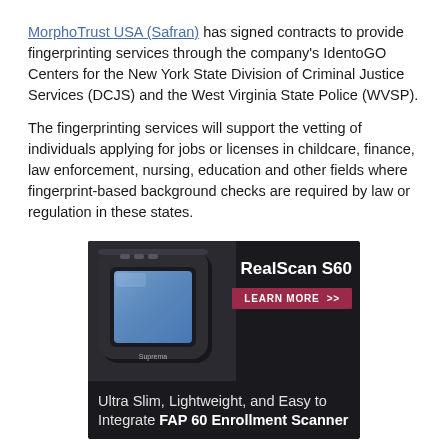MorphoTrust USA (Safran) has signed contracts to provide fingerprinting services through the company's IdentoGO Centers for the New York State Division of Criminal Justice Services (DCJS) and the West Virginia State Police (WVSP).
The fingerprinting services will support the vetting of individuals applying for jobs or licenses in childcare, finance, law enforcement, nursing, education and other fields where fingerprint-based background checks are required by law or regulation in these states.
[Figure (photo): Advertisement for RealScan S60 fingerprint enrollment scanner on dark background. Shows a slim square device with a blue scanning surface. Text reads 'RealScan S60', 'LEARN MORE >>', and 'Ultra Slim, Lightweight, and Easy to Integrate FAP 60 Enrollment Scanner'.]